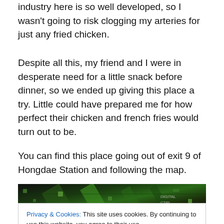industry here is so well developed, so I wasn't going to risk clogging my arteries for just any fried chicken.
Despite all this, my friend and I were in desperate need for a little snack before dinner, so we ended up giving this place a try. Little could have prepared me for how perfect their chicken and french fries would turn out to be.
You can find this place going out of exit 9 of Hongdae Station and following the map.
[Figure (photo): Close-up photo of circuit boards with green and dark components]
Privacy & Cookies: This site uses cookies. By continuing to use this website, you agree to their use.
To find out more, including how to control cookies, see here: Cookie Policy
[Close and accept button]
[Figure (photo): Bottom strip showing three panels: circuit board photo left, rating widget center, circuit board photo right]